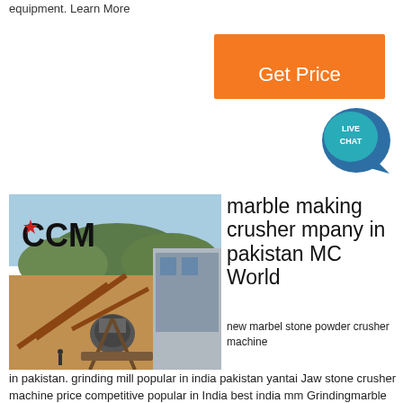equipment. Learn More
[Figure (other): Orange 'Get Price' button with Live Chat bubble icon]
[Figure (photo): Photo of a CCM crushing/grinding plant facility with machinery and conveyor belts outdoors]
marble making crusher mpany in pakistan MC World
new marbel stone powder crusher machine in pakistan. grinding mill popular in india pakistan yantai Jaw stone crusher machine price competitive popular in India best india mm Grindingmarble ball mill plant pakistan Pumps /Valves /Hydrocyclone India Factsprice in pakistan new type grinding mills for cement gypsum grinding mill in indiamagnetic iron ore grinding